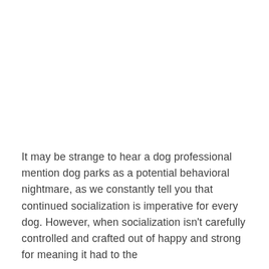It may be strange to hear a dog professional mention dog parks as a potential behavioral nightmare, as we constantly tell you that continued socialization is imperative for every dog. However, when socialization isn't carefully controlled and crafted out of happy and strong for meaning it had to the